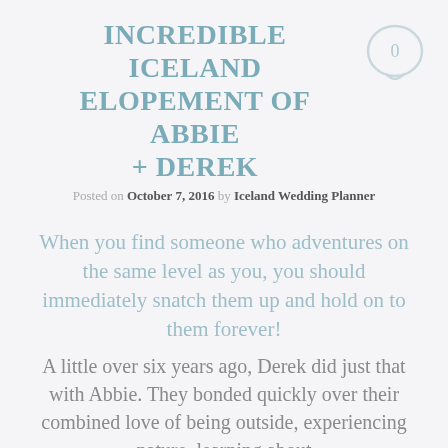INCREDIBLE ICELAND ELOPEMENT OF ABBIE + DEREK
Posted on October 7, 2016 by Iceland Wedding Planner
When you find someone who adventures on the same level as you, you should immediately snatch them up and hold on to them forever!
A little over six years ago, Derek did just that with Abbie.  They bonded quickly over their combined love of being outside, experiencing nature, learning about